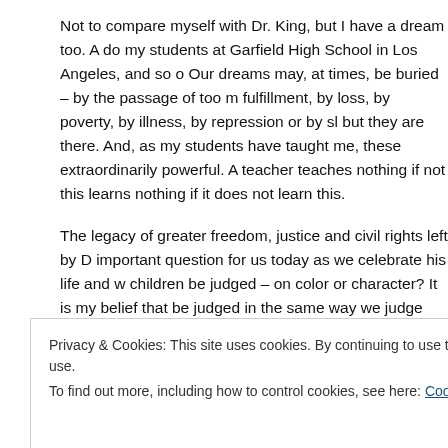Not to compare myself with Dr. King, but I have a dream too. A do my students at Garfield High School in Los Angeles, and so o Our dreams may, at times, be buried – by the passage of too m fulfillment, by loss, by poverty, by illness, by repression or by sl but they are there. And, as my students have taught me, these extraordinarily powerful. A teacher teaches nothing if not this learns nothing if it does not learn this.
The legacy of greater freedom, justice and civil rights left by D important question for us today as we celebrate his life and w children be judged – on color or character? It is my belief that be judged in the same way we judge ourselves – by the power and our ability to imbue the worlds in which we live, large or s dreams.
Privacy & Cookies: This site uses cookies. By continuing to use this website, you agree to their use. To find out more, including how to control cookies, see here: Cookie Policy
I tell my students, "Set your goals and go for it. We're going to